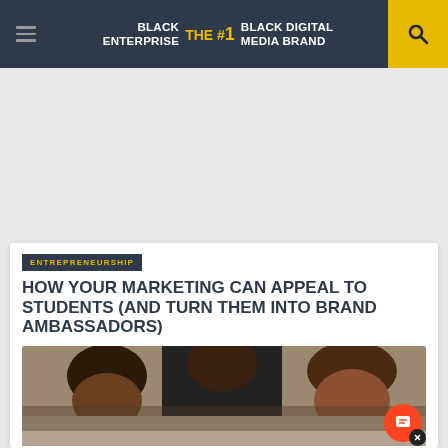BLACK ENTERPRISE — THE #1 BLACK DIGITAL MEDIA BRAND
ENTREPRENEURSHIP
HOW YOUR MARKETING CAN APPEAL TO STUDENTS (AND TURN THEM INTO BRAND AMBASSADORS)
[Figure (photo): Three students of color sitting together and studying or working on something, viewed from above at an angle]